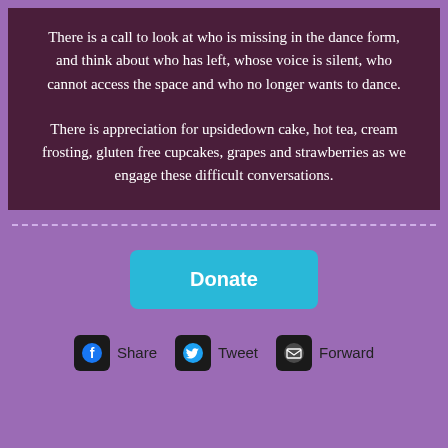There is a call to look at who is missing in the dance form, and think about who has left, whose voice is silent, who cannot access the space and who no longer wants to dance.
There is appreciation for upsidedown cake, hot tea, cream frosting, gluten free cupcakes, grapes and strawberries as we engage these difficult conversations.
[Figure (other): Cyan/teal Donate button]
[Figure (other): Social sharing icons row: Facebook Share, Twitter Tweet, Email Forward]